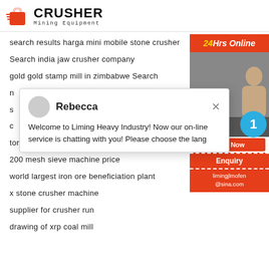[Figure (logo): Crusher Mining Equipment logo with red shopping bag icon and bold black CRUSHER text]
search results harga mini mobile stone crusher
Search india jaw crusher company
gold gold stamp mill in zimbabwe Search
n
s
c
ton per hour domestic jaw crushers Search
200 mesh sieve machine price
world largest iron ore beneficiation plant
x stone crusher machine
supplier for crusher run
drawing of xrp coal mill
[Figure (screenshot): Chat popup with Rebecca avatar, welcome message from Liming Heavy Industry, and sidebar with 24Hrs Online, Need & suggestion, Chat Now button, Enquiry, and email limingjlmofen@sina.com]